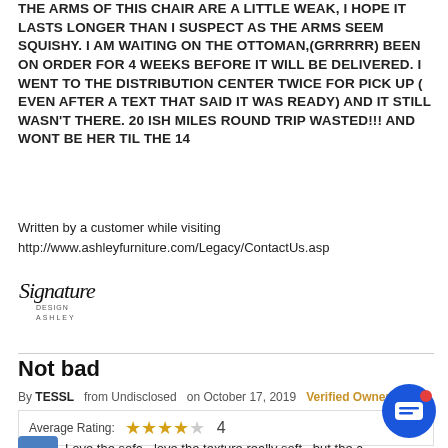THE ARMS OF THIS CHAIR ARE A LITTLE WEAK, I HOPE IT LASTS LONGER THAN I SUSPECT AS THE ARMS SEEM SQUISHY. I AM WAITING ON THE OTTOMAN,(GRRRRR) BEEN ON ORDER FOR 4 WEEKS BEFORE IT WILL BE DELIVERED. I WENT TO THE DISTRIBUTION CENTER TWICE FOR PICK UP ( EVEN AFTER A TEXT THAT SAID IT WAS READY) AND IT STILL WASN'T THERE. 20 ISH MILES ROUND TRIP WASTED!!! AND WONT BE HER TIL THE 14
Written by a customer while visiting http://www.ashleyfurniture.com/Legacy/ContactUs.asp
[Figure (logo): Signature Design by Ashley logo in cursive/script style]
Not bad
By TESSL from Undisclosed on October 17, 2019 Verified Owner
| Average Rating: | Stars | Score |
| --- | --- | --- |
|  | 4 stars filled, 1 empty | 4 |
Love the sofa , love the texture really soft , but the chairs seem to break easy